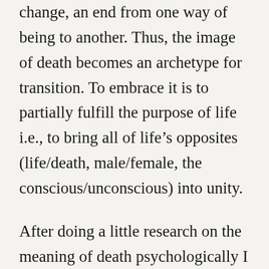change, an end from one way of being to another. Thus, the image of death becomes an archetype for transition. To embrace it is to partially fulfill the purpose of life i.e., to bring all of life's opposites (life/death, male/female, the conscious/unconscious) into unity.
After doing a little research on the meaning of death psychologically I put down my laptop and ambled down the hall to bed. During the night I had a